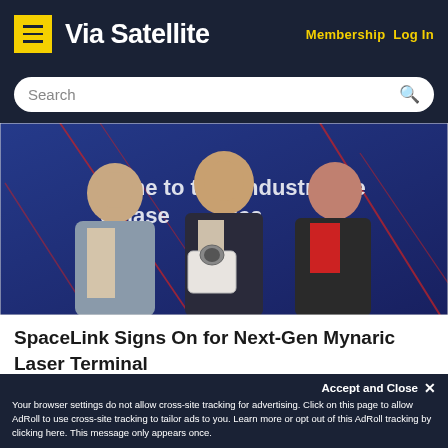Via Satellite | Membership  Log In
Search
[Figure (photo): Three people standing in front of a dark blue backdrop with red lines and text reading 'come to the Industrial Age of laser..ica'. The person in the center is holding a white laser terminal device.]
SpaceLink Signs On for Next-Gen Mynaric Laser Terminal
Accept and Close ✕
Your browser settings do not allow cross-site tracking for advertising. Click on this page to allow AdRoll to use cross-site tracking to tailor ads to you. Learn more or opt out of this AdRoll tracking by clicking here. This message only appears once.